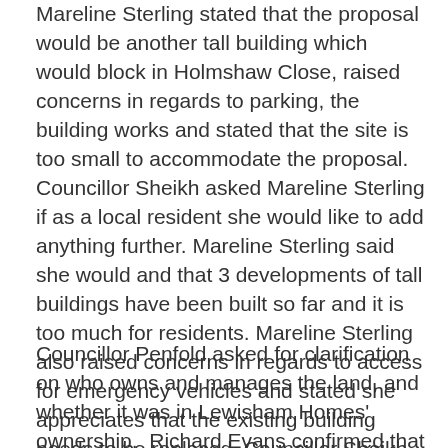Mareline Sterling stated that the proposal would be another tall building which would block in Holmshaw Close, raised concerns in regards to parking, the building works and stated that the site is too small to accommodate the proposal. Councillor Sheikh asked Mareline Sterling if as a local resident she would like to add anything further. Mareline Sterling said she would and that 3 developments of tall buildings have been built so far and it is too much for residents. Mareline Sterling also raised concerns in regards to access for emergency vehicles and stated she appreciates that the existing building needs to be replaced. Councillor Sheikh asked Mareline Sterling if she would say there is a sense of community, Mareline Sterling states that she is trying to set up a Tenants Association.
Councillor Penfold asked for clarification on who owns and manages the land, and whether it was in Lewisham Homes' ownership.  Richard Evans confirmed that it was not.  The presenting officer highlighted that he does not know who owns the land